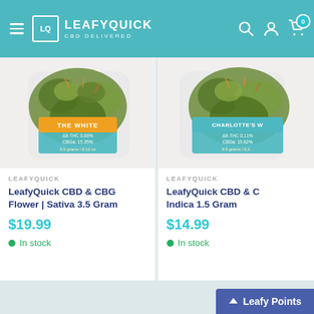[Figure (screenshot): LeafyQuick CBD Delivered website header with teal background, hamburger menu, logo, search, account, and cart icons]
[Figure (photo): Product photo of CBD flower jar labeled 'The White' with THC and CBD percentages]
LEAFYQUICK
LeafyQuick CBD & CBG Flower | Sativa 3.5 Gram
$19.99
In stock
[Figure (photo): Product photo of CBD flower jar labeled Charlotte's with THC and CBD percentages]
LEAFYQUICK
LeafyQuick CBD & C Indica 1.5 Gram
$14.99
In stock
Leafy Points